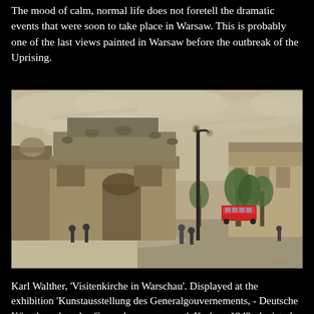The mood of calm, normal life does not foretell the dramatic events that were soon to take place in Warsaw. This is probably one of the last views painted in Warsaw before the outbreak of the Uprising.
[Figure (photo): Oil painting by Karl Walther titled 'Visitenkirche in Warschau' showing a Warsaw street scene with a grand arched building/church on the left, a tall street lamp in the center, trees on the right, a red tram in the background, and pedestrians on the street. Painted in muted warm tones with a cloudy sky.]
Karl Walther, 'Visitenkirche in Warschau'. Displayed at the exhibition 'Kunstausstellung des Generalgouvernements, - Deutsche Künstler sehen das Generalgouvernement', Krakau, 1942; depicted in the exhibition catalog. At this